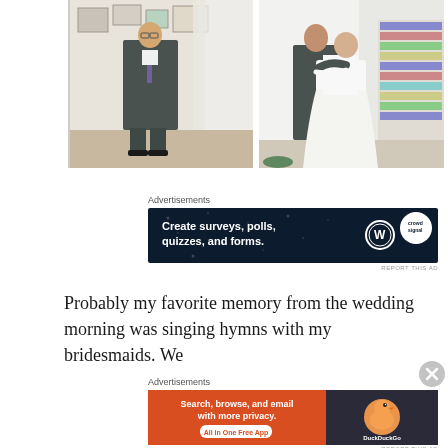[Figure (photo): Two wedding photos side by side: left shows a groom in a dark suit standing alone in a room with framed art on the wall; right shows a couple embracing, bride in white dress, with bookshelves in background]
Advertisements
[Figure (screenshot): Advertisement banner with dark navy background: 'Create surveys, polls, quizzes, and forms.' with WordPress and Crowdsignal logos]
REPORT THIS AD
Probably my favorite memory from the wedding morning was singing hymns with my bridesmaids. We
Advertisements
[Figure (screenshot): DuckDuckGo advertisement: 'Search, browse, and email with more privacy. All in One Free App' with DuckDuckGo logo on dark right panel]
REPORT THIS AD